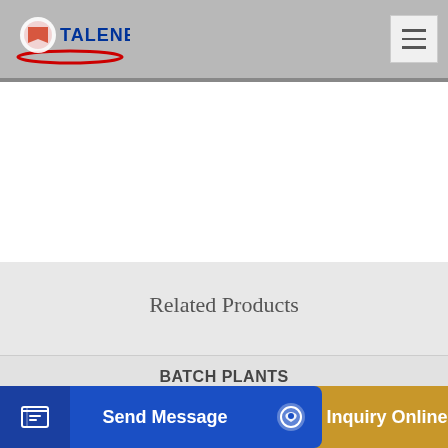TALENET
Related Products
BATCH PLANTS
Bulkbuy 3 Axles Concrete Cement Mixer Semi Trailer
...professional...
Send Message
Inquiry Online